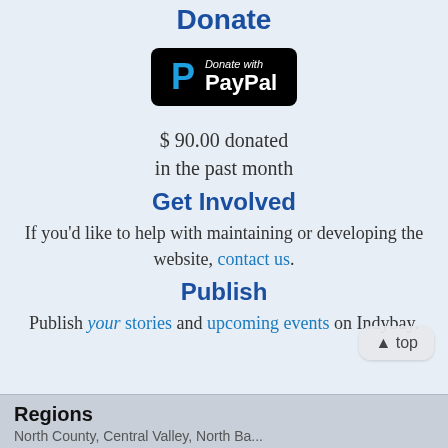Donate
[Figure (logo): Donate with PayPal button — black rounded rectangle with PayPal P logo in blue and white text reading 'Donate with PayPal']
$ 90.00 donated in the past month
Get Involved
If you'd like to help with maintaining or developing the website, contact us.
Publish
Publish your stories and upcoming events on Indybay.
Regions
North County, Central Valley, North Ba...